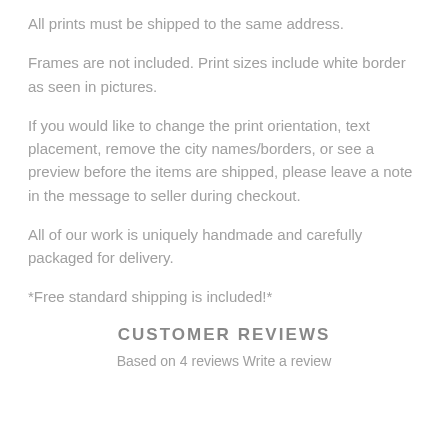All prints must be shipped to the same address.
Frames are not included. Print sizes include white border as seen in pictures.
If you would like to change the print orientation, text placement, remove the city names/borders, or see a preview before the items are shipped, please leave a note in the message to seller during checkout.
All of our work is uniquely handmade and carefully packaged for delivery.
*Free standard shipping is included!*
CUSTOMER REVIEWS
Based on 4 reviews Write a review